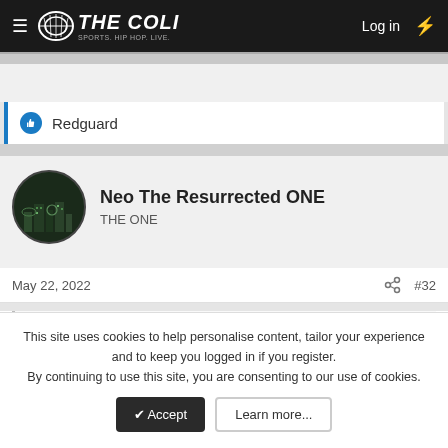THE COLI — Sports. Hip Hop. Live. | Log in
Redguard
Neo The Resurrected ONE
THE ONE
May 22, 2022   #32
Bryan Danielson said: ↑
@AnonymityX1000 @wire28 @Norrin Radd and MarvelSet General Manager @humminbird
This site uses cookies to help personalise content, tailor your experience and to keep you logged in if you register.
By continuing to use this site, you are consenting to our use of cookies.